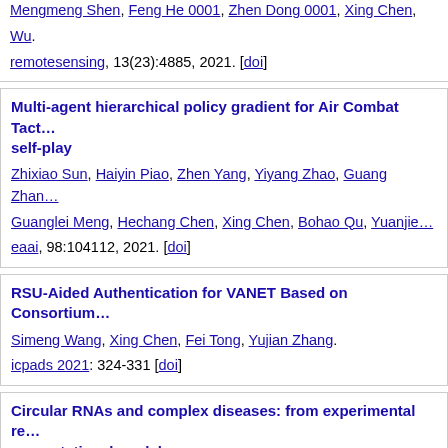Mengmeng Shen, Feng He 0001, Zhen Dong 0001, Xing Chen, Wu. remotesensing, 13(23):4885, 2021. [doi]
Multi-agent hierarchical policy gradient for Air Combat Tactical Decision with self-play. Zhixiao Sun, Haiyin Piao, Zhen Yang, Yiyang Zhao, Guang Zhang, Guanglei Meng, Hechang Chen, Xing Chen, Bohao Qu, Yuanjie. eaai, 98:104112, 2021. [doi]
RSU-Aided Authentication for VANET Based on Consortium. Simeng Wang, Xing Chen, Fei Tong, Yujian Zhang. icpads 2021: 324-331 [doi]
Circular RNAs and complex diseases: from experimental results to computational models. Chun-Chun Wang, Chen-Di Han, Qi Zhao, Xing Chen. bib, 22(6), 2021. [doi]